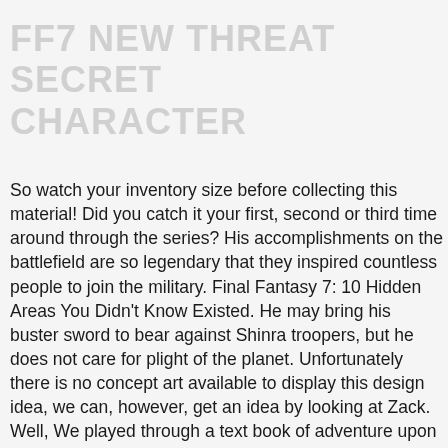FF7 NEW THREAT SECRET CHARACTER
So watch your inventory size before collecting this material! Did you catch it your first, second or third time around through the series? His accomplishments on the battlefield are so legendary that they inspired countless people to join the military. Final Fantasy 7: 10 Hidden Areas You Didn't Know Existed. He may bring his buster sword to bear against Shinra troopers, but he does not care for plight of the planet. Unfortunately there is no concept art available to display this design idea, we can, however, get an idea by looking at Zack. Well, We played through a text book of adventure upon completion of, View the clip below the hear the only voice acting incorporated into, Sakaguchi, best known as the creator of the, During an interview Sakaguchi confirmed that his